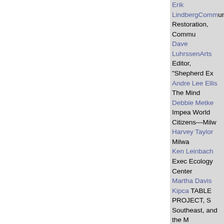Erik LindbergComm... Restoration, Commu...
Dave LuhrssenArts... Editor, "Shepherd Ex...
Andre Lee Ellis The... Mind
Debbie Metke Impea... World Citizens—Milw...
Harvey Taylor Milwa...
Ken Leinbach Exec... Ecology Center
Martha Davis Kipca... TABLE PROJECT, S... Southeast, and the M...
Barbara Bell, Keepe... Bonobos of Milwauke...
Megan Godsil Jeyif... Riverwest Leaving Ba...
Howard Hinterthuer... Warrior" of Ozaukee...
Ann Brummitt, Coo... River Work Group(M...
Bor...
*Earth Poets...
Soldie...
Early Swee...